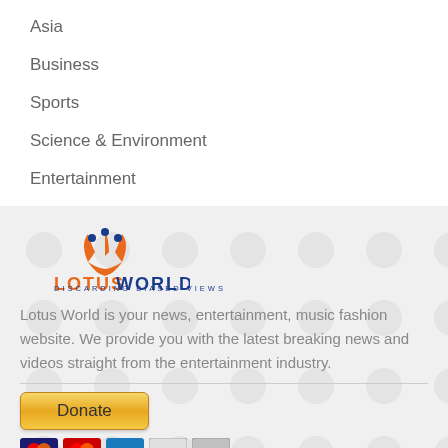Asia
Business
Sports
Science & Environment
Entertainment
[Figure (logo): Lotus World logo with orange lotus flower icon and text. Tagline: Discarding Biased Views]
Lotus World is your news, entertainment, music fashion website. We provide you with the latest breaking news and videos straight from the entertainment industry.
[Figure (other): Donate button and payment method icons (Mastercard, Visa, and others)]